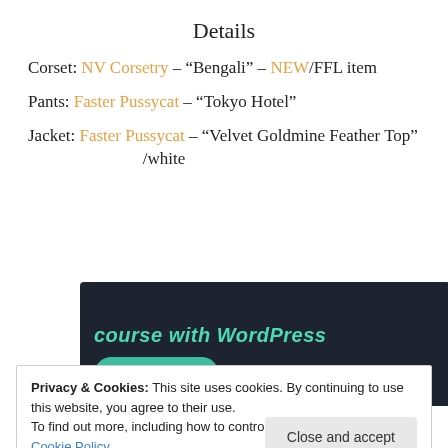Details
Corset: NV Corsetry – “Bengali” – NEW/FFL item
Pants: Faster Pussycat – “Tokyo Hotel”
Jacket: Faster Pussycat – “Velvet Goldmine Feather Top” /white
[Figure (screenshot): Dark banner ad with teal italic text 'course with WordPress' and a teal rounded 'Learn More' button]
Privacy & Cookies: This site uses cookies. By continuing to use this website, you agree to their use.
To find out more, including how to control cookies, see here: Cookie Policy